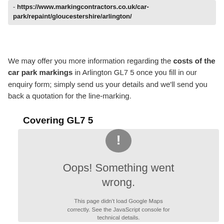- https://www.markingcontractors.co.uk/car-park/repaint/gloucestershire/arlington/
We may offer you more information regarding the costs of the car park markings in Arlington GL7 5 once you fill in our enquiry form; simply send us your details and we'll send you back a quotation for the line-marking.
Covering GL7 5
[Figure (screenshot): Google Maps error screenshot showing a grey box with an exclamation mark icon, text 'Oops! Something went wrong.' and sub-text 'This page didn't load Google Maps correctly. See the JavaScript console for technical details.']